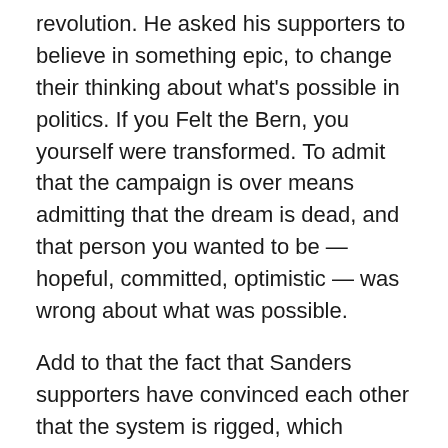revolution. He asked his supporters to believe in something epic, to change their thinking about what's possible in politics. If you Felt the Bern, you yourself were transformed. To admit that the campaign is over means admitting that the dream is dead, and that person you wanted to be — hopeful, committed, optimistic — was wrong about what was possible.
Add to that the fact that Sanders supporters have convinced each other that the system is rigged, which means that any outcome other than Sanders winning is not just unfortunate but fundamentally illegitimate. If you believe that, it means that once you assent to a Clinton victory you've assented to corruption.
While Sanders himself has gotten some criticism for not bowing out already or acknowledging that it's all over, you